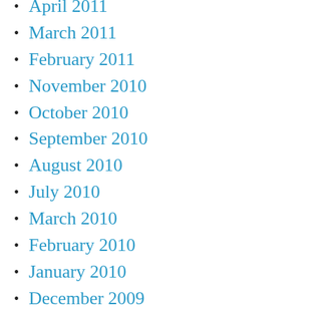April 2011
March 2011
February 2011
November 2010
October 2010
September 2010
August 2010
July 2010
March 2010
February 2010
January 2010
December 2009
November 2009
October 2009
September 2009
August 2009